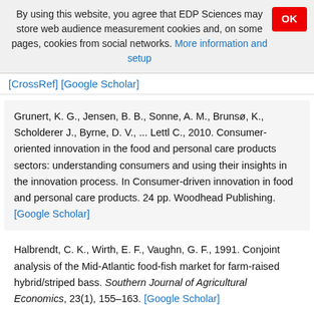By using this website, you agree that EDP Sciences may store web audience measurement cookies and, on some pages, cookies from social networks. More information and setup
[CrossRef] [Google Scholar]
Grunert, K. G., Jensen, B. B., Sonne, A. M., Brunsø, K., Scholderer J., Byrne, D. V., ... Lettl C., 2010. Consumer-oriented innovation in the food and personal care products sectors: understanding consumers and using their insights in the innovation process. In Consumer-driven innovation in food and personal care products. 24 pp. Woodhead Publishing. [Google Scholar]
Halbrendt, C. K., Wirth, E. F., Vaughn, G. F., 1991. Conjoint analysis of the Mid-Atlantic food-fish market for farm-raised hybrid/striped bass. Southern Journal of Agricultural Economics, 23(1), 155–163. [Google Scholar]